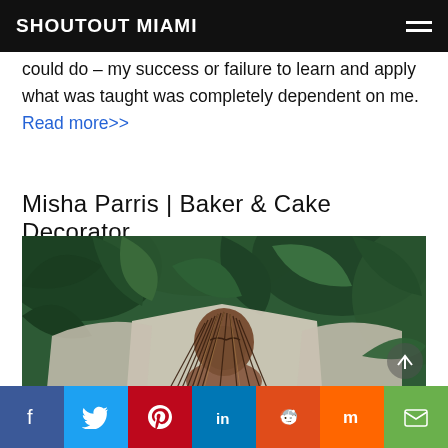SHOUTOUT MIAMI
could do – my success or failure to learn and apply what was taught was completely dependent on me. Read more>>
Misha Parris | Baker & Cake Decorator
[Figure (photo): Woman with long braided hair looking downward, seated in front of lush tropical green foliage and a light-colored cloth backdrop]
Social share buttons: Facebook, Twitter, Pinterest, LinkedIn, Reddit, Mix, Email